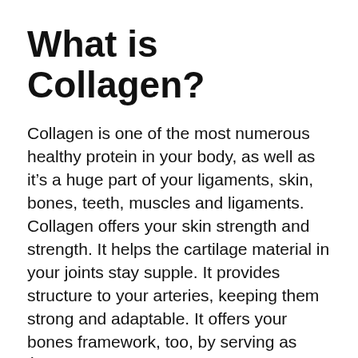What is Collagen?
Collagen is one of the most numerous healthy protein in your body, as well as it’s a huge part of your ligaments, skin, bones, teeth, muscles and ligaments. Collagen offers your skin strength and strength. It helps the cartilage material in your joints stay supple. It provides structure to your arteries, keeping them strong and adaptable. It offers your bones framework, too, by serving as ‘enhancing poles’. Collagen is an amazing building and construction material.
Collagen comes in several forms, yet the vast majority in your body includes types I, II and also III. These kinds all create fairly large fibres, known as collagen fibres.